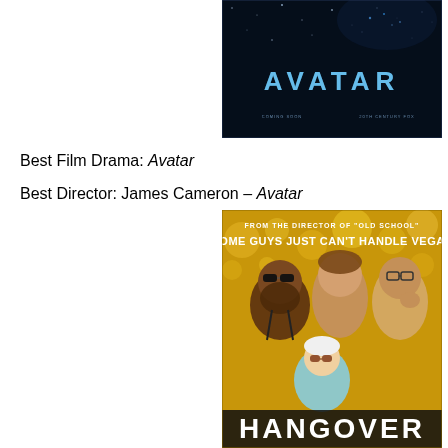[Figure (photo): Movie poster for Avatar — dark blue background with glowing stars, creature silhouette, and the word AVATAR in large text]
Best Film Drama: Avatar
Best Director: James Cameron – Avatar
[Figure (photo): Movie poster for The Hangover — three men and a baby in Vegas, tagline 'Some guys just can't handle Vegas', from the director of Old School]